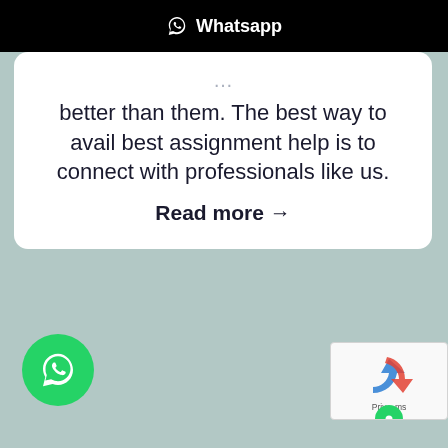Whatsapp
better than them. The best way to avail best assignment help is to connect with professionals like us.
Read more →
[Figure (logo): Green WhatsApp floating action button at bottom left]
[Figure (other): Google reCAPTCHA widget with Priv...ms text at bottom right]